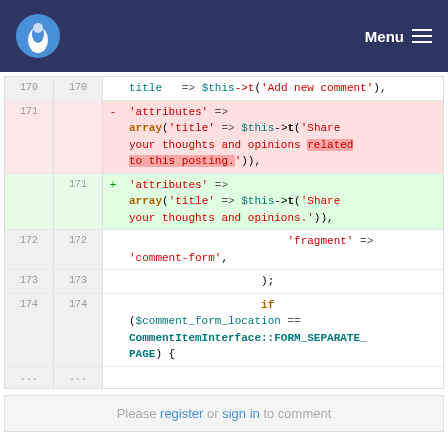Menu
[Figure (screenshot): Code diff view showing PHP code changes around lines 170-174. Line 171 is deleted (red background) showing 'attributes' => array('title' => $this->t('Share your thoughts and opinions related to this posting.')), and the same line 171 is added (green background) with shortened text 'Share your thoughts and opinions.'). Lines 172-174 show 'fragment' => 'comment-form', ); if ($comment_form_location == CommentItemInterface::FORM_SEPARATE_PAGE) {]
Please register or sign in to comment